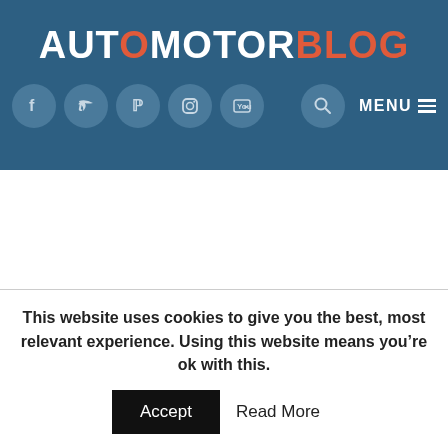AUTOMOTORBLOG
highly diverse mix of electrified solutions.”
This website uses cookies to give you the best, most relevant experience. Using this website means you’re ok with this.